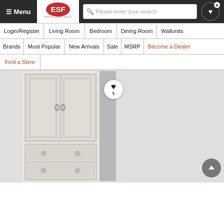☰ Menu | ESF Logo | Search bar | Wishlist 0
Login/Register
Living Room
Bedroom
Dining Room
Wallunits
Brands
Most Popular
New Arrivals
Sale
MSRP
Become a Dealer
Find a Store
[Figure (photo): Tall white/cream wardrobe armoire with ornate panel detailing, two upper doors with ring pull handles, and lower drawer section with decorative knobs. Includes a wishlist heart icon showing 5 saves.]